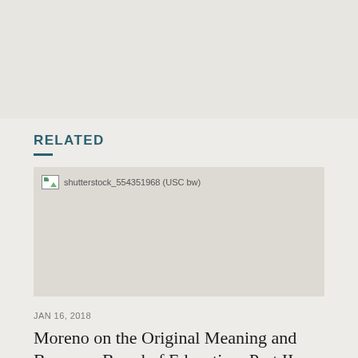RELATED
[Figure (photo): Broken image placeholder showing filename: shutterstock_554351968 (USC bw)]
JAN 16, 2018
Moreno on the Original Meaning and Brown v. Board of Education: Part II